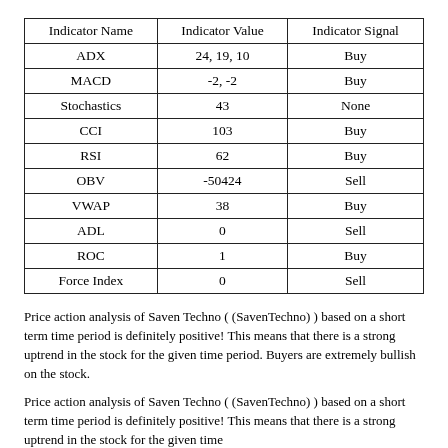| Indicator Name | Indicator Value | Indicator Signal |
| --- | --- | --- |
| ADX | 24, 19, 10 | Buy |
| MACD | -2, -2 | Buy |
| Stochastics | 43 | None |
| CCI | 103 | Buy |
| RSI | 62 | Buy |
| OBV | -50424 | Sell |
| VWAP | 38 | Buy |
| ADL | 0 | Sell |
| ROC | 1 | Buy |
| Force Index | 0 | Sell |
Price action analysis of Saven Techno ( (SavenTechno) ) based on a short term time period is definitely positive! This means that there is a strong uptrend in the stock for the given time period. Buyers are extremely bullish on the stock.
Price action analysis of Saven Techno ( (SavenTechno) ) based on a short term time period is definitely positive! This means that there is a strong uptrend in the stock for the given time